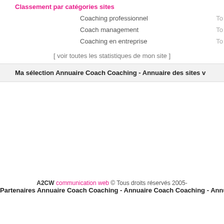Classement par catégories sites
Coaching professionnel   To
Coach management   To
Coaching en entreprise   To
[ voir toutes les statistiques de mon site ]
Ma sélection Annuaire Coach Coaching - Annuaire des sites v
A2CW communication web © Tous droits réservés 2005-
Partenaires Annuaire Coach Coaching - Annuaire Coach Coaching - Annua